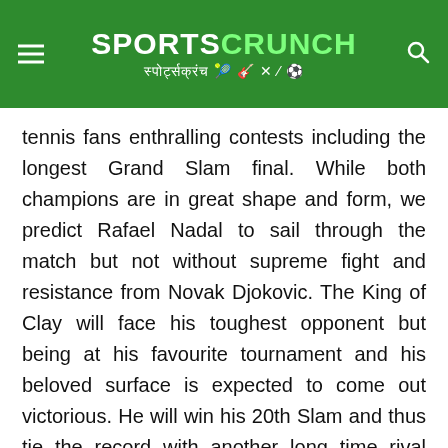SPORTS CRUNCH स्पोर्ट्सक्रंच
tennis fans enthralling contests including the longest Grand Slam final. While both champions are in great shape and form, we predict Rafael Nadal to sail through the match but not without supreme fight and resistance from Novak Djokovic. The King of Clay will face his toughest opponent but being at his favourite tournament and his beloved surface is expected to come out victorious. He will win his 20th Slam and thus tie the record with another long time rival Roger Federer.
Our Prediction – Rafael Nadal wins the match in 4 intense sets.